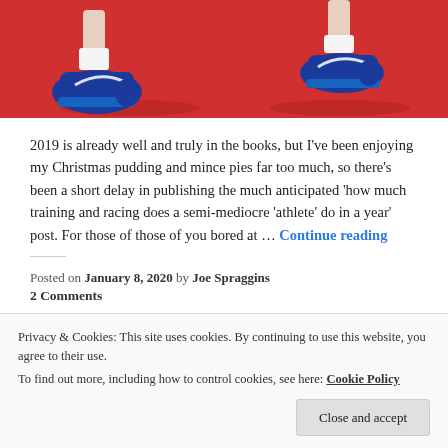[Figure (photo): Close-up photo of two runners' feet wearing blue Nike shoes on a red surface/track, shot from low angle.]
2019 is already well and truly in the books, but I've been enjoying my Christmas pudding and mince pies far too much, so there's been a short delay in publishing the much anticipated 'how much training and racing does a semi-mediocre 'athlete' do in a year' post. For those of those of you bored at … Continue reading
Posted on January 8, 2020 by Joe Spraggins
2 Comments
Privacy & Cookies: This site uses cookies. By continuing to use this website, you agree to their use.
To find out more, including how to control cookies, see here: Cookie Policy